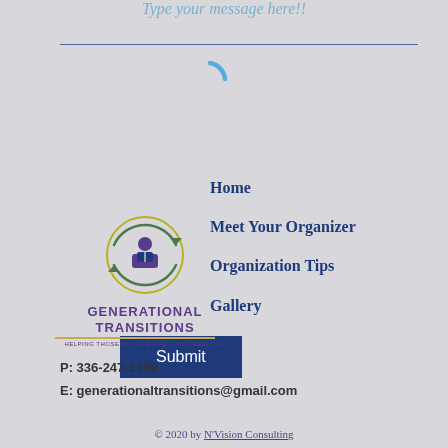Type your message here!!
[Figure (illustration): A spinning/loading arc indicator in blue]
[Figure (logo): Generational Transitions logo with circular icon showing a person with a book, surrounded by circular arrows, purple company name, gold underline, tagline: Helping Those In Your Life, Live Their Life]
Submit
Home
Meet Your Organizer
Organization Tips
Gallery
P: 336-247-2189
E: generationaltransitions@gmail.com
© 2020 by N'Vision Consulting